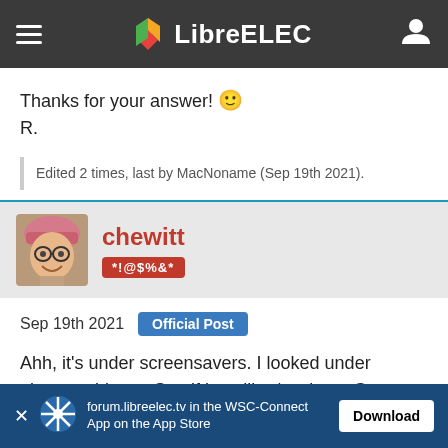LibreELEC
Thanks for your answer! 🙂
R.
Edited 2 times, last by MacNoname (Sep 19th 2021).
[Figure (photo): Avatar photo of forum user chewitt with pink hat]
chewitt
*!@$%&*
Sep 19th 2021  Official Post
Ahh, it's under screensavers. I looked under picture add-ons. See if installing/setting a German locale (use the locale add-on
forum.libreelec.tv in the WSC-Connect App on the App Store